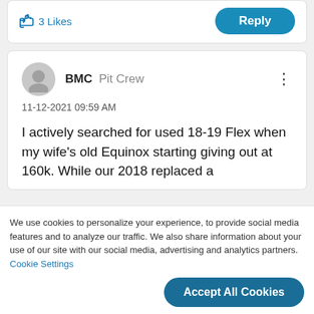3 Likes
Reply
BMC  Pit Crew
11-12-2021 09:59 AM
I actively searched for used 18-19 Flex when my wife's old Equinox starting giving out at 160k. While our 2018 replaced a
We use cookies to personalize your experience, to provide social media features and to analyze our traffic. We also share information about your use of our site with our social media, advertising and analytics partners. Cookie Settings
Accept All Cookies